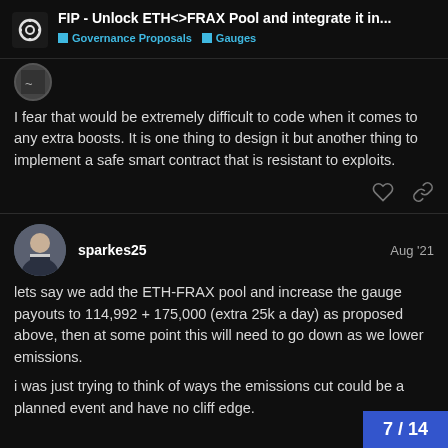FIP - Unlock ETH<>FRAX Pool and integrate it in... | Governance Proposals | Gauges
I fear that would be extremely difficult to code when it comes to any extra boosts. It is one thing to design it but another thing to implement a safe smart contract that is resistant to exploits.
sparkes25  Aug '21
lets say we add the ETH-FRAX pool and increase the gauge payouts to 114,992 + 175,000 (extra 25k a day) as proposed above, then at some point this will need to go down as we lower emissions.
i was just trying to think of ways the emissions cut could be a planned event and have no cliff edge.
7 / 14